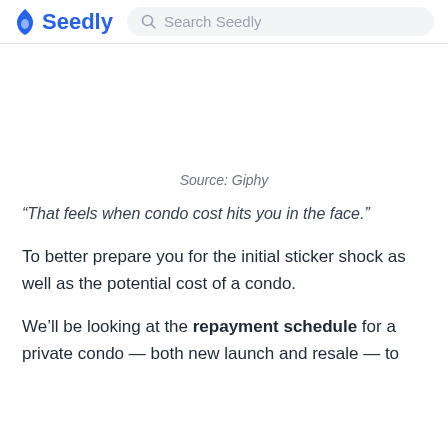Seedly — Search Seedly
Source: Giphy
“That feels when condo cost hits you in the face.”
To better prepare you for the initial sticker shock as well as the potential cost of a condo.
We’ll be looking at the repayment schedule for a private condo — both new launch and resale — to